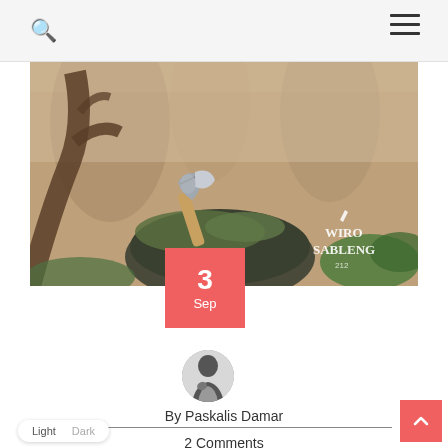Search and navigation header with search icon and hamburger menu
[Figure (photo): Forest scene with an axe resting on a mossy rock, misty trees in background. Wiro Sableng logo visible in lower right corner of image.]
3 Sep
[Figure (photo): Circular avatar photo of a person in black and white, shown from behind/side]
By Paskalis Damar
2 Comments